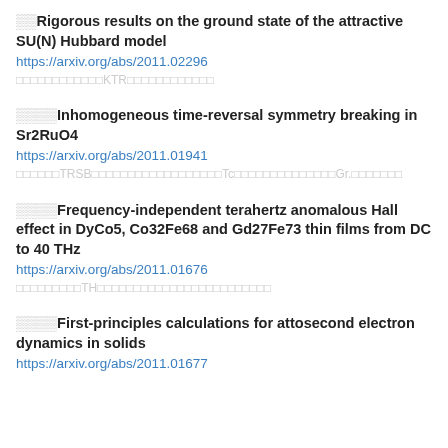🔲🔲Rigorous results on the ground state of the attractive SU(N) Hubbard model
https://arxiv.org/abs/2011.02296
🔲🔲🔲🔲🔲🔲🔲🔲🔲🔲🔲🔲KTR🔲🔲🔲🔲🔲🔲🔲🔲🔲🔲🔲🔲
🔲🔲🔲🔲Inhomogeneous time-reversal symmetry breaking in Sr2RuO4
https://arxiv.org/abs/2011.01941
🔲🔲🔲🔲🔲🔲TRSB🔲🔲🔲🔲🔲🔲🔲🔲🔲🔲🔲🔲🔲🔲🔲🔲🔲🔲Tc🔲🔲🔲🔲🔲🔲🔲🔲🔲🔲🔲🔲🔲🔲Gr.🔲🔲🔲🔲🔲🔲🔲
🔲🔲🔲🔲Frequency-independent terahertz anomalous Hall effect in DyCo5, Co32Fe68 and Gd27Fe73 thin films from DC to 40 THz
https://arxiv.org/abs/2011.01676
🔲🔲🔲🔲🔲🔲🔲🔲🔲TH🔲🔲🔲🔲🔲🔲🔲🔲🔲🔲🔲🔲🔲🔲🔲🔲🔲🔲🔲🔲🔲🔲🔲🔲
🔲🔲🔲🔲First-principles calculations for attosecond electron dynamics in solids
https://arxiv.org/abs/2011.01677